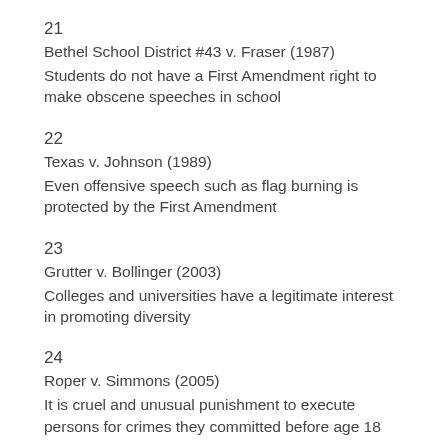21
Bethel School District #43 v. Fraser (1987)
Students do not have a First Amendment right to make obscene speeches in school
22
Texas v. Johnson (1989)
Even offensive speech such as flag burning is protected by the First Amendment
23
Grutter v. Bollinger (2003)
Colleges and universities have a legitimate interest in promoting diversity
24
Roper v. Simmons (2005)
It is cruel and unusual punishment to execute persons for crimes they committed before age 18